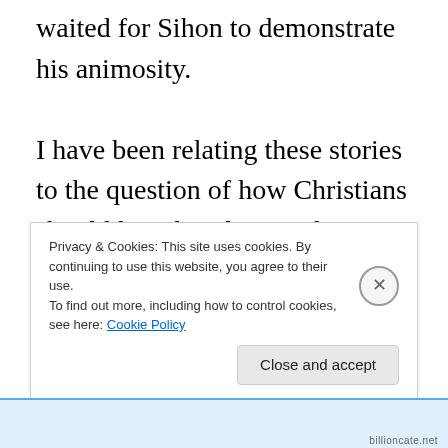waited for Sihon to demonstrate his animosity.

I have been relating these stories to the question of how Christians should live their lives today. I suggested yesterday that we have three categories: disciples, friends and enemies. It is not always easy to know
Privacy & Cookies: This site uses cookies. By continuing to use this website, you agree to their use.
To find out more, including how to control cookies, see here: Cookie Policy
Close and accept